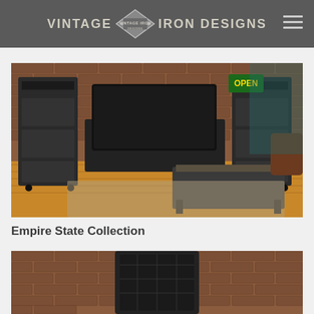VINTAGE IRON DESIGNS
[Figure (photo): Industrial-style living room furniture set including two tall bookcases, a TV console, and a coffee table, all in dark iron/wood finish, set against a brick wall with a leather chair visible on the right. An 'OPEN' neon sign is visible in the background.]
Empire State Collection
[Figure (photo): Close-up of a dark iron and wood display cabinet or bookcase from the Empire State Collection, set against a brick wall background.]